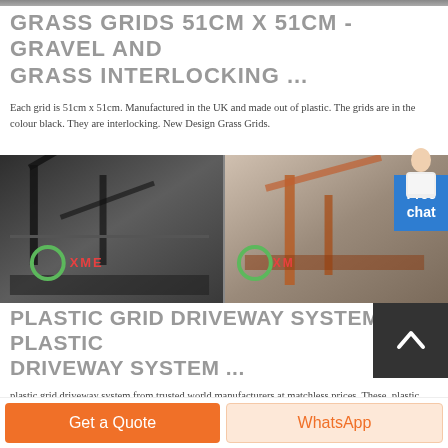GRASS GRIDS 51CM X 51CM - GRAVEL AND GRASS INTERLOCKING ...
Each grid is 51cm x 51cm. Manufactured in the UK and made out of plastic. The grids are in the colour black. They are interlocking. New Design Grass Grids.
[Figure (photo): Two industrial crane/machinery images side by side with XME branding overlay in red text and green circle logos. A chat person avatar and 'Free chat' blue button overlaid on right edge.]
PLASTIC GRID DRIVEWAY SYSTEM, PLASTIC DRIVEWAY SYSTEM ...
plastic grid driveway system from trusted world manufacturers at matchless prices. These. plastic grid driveway system have imitable robustness, boasting irresistible holding capacities, high tensile strength, wide-area redistribution, and eco-friendly properties. Choose from fiberglass biaxial plastic, plastic, biaxial plastic, and polyester ...
Get a Quote | WhatsApp